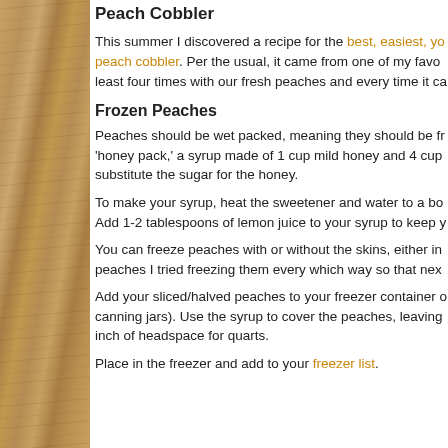Peach Cobbler
This summer I discovered a recipe for the best, easiest, yo... peach cobbler. Per the usual, it came from one of my favo... least four times with our fresh peaches and every time it ca...
Frozen Peaches
Peaches should be wet packed, meaning they should be fr... 'honey pack,' a syrup made of 1 cup mild honey and 4 cup... substitute the sugar for the honey.
To make your syrup, heat the sweetener and water to a bo... Add 1-2 tablespoons of lemon juice to your syrup to keep y...
You can freeze peaches with or without the skins, either in... peaches I tried freezing them every which way so that nex...
Add your sliced/halved peaches to your freezer container o... canning jars). Use the syrup to cover the peaches, leaving... inch of headspace for quarts.
Place in the freezer and add to your freezer list.